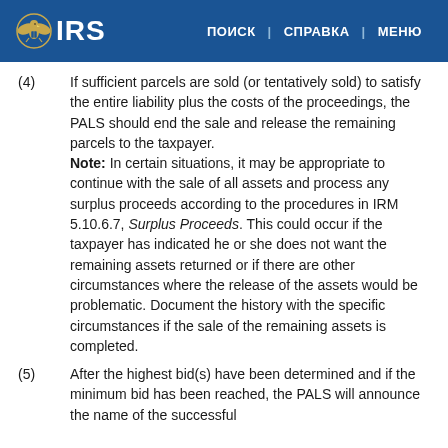IRS | ПОИСК | СПРАВКА | МЕНЮ
(4) If sufficient parcels are sold (or tentatively sold) to satisfy the entire liability plus the costs of the proceedings, the PALS should end the sale and release the remaining parcels to the taxpayer. Note: In certain situations, it may be appropriate to continue with the sale of all assets and process any surplus proceeds according to the procedures in IRM 5.10.6.7, Surplus Proceeds. This could occur if the taxpayer has indicated he or she does not want the remaining assets returned or if there are other circumstances where the release of the assets would be problematic. Document the history with the specific circumstances if the sale of the remaining assets is completed.
(5) After the highest bid(s) have been determined and if the minimum bid has been reached, the PALS will announce the name of the successful